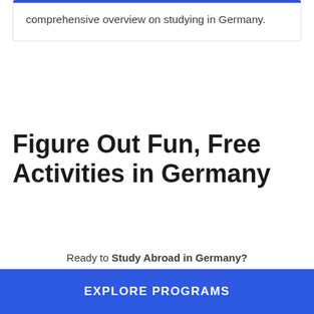comprehensive overview on studying in Germany.
Figure Out Fun, Free Activities in Germany
Ready to Study Abroad in Germany?
EXPLORE PROGRAMS